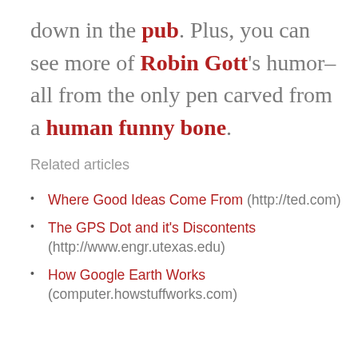down in the pub. Plus, you can see more of Robin Gott's humor–all from the only pen carved from a human funny bone.
Related articles
Where Good Ideas Come From (http://ted.com)
The GPS Dot and it's Discontents (http://www.engr.utexas.edu)
How Google Earth Works (computer.howstuffworks.com)